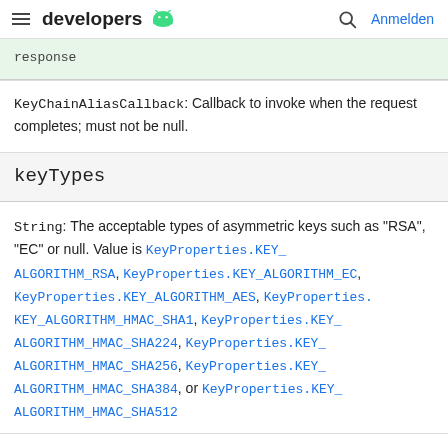developers [android logo] | [search] Anmelden
response
KeyChainAliasCallback: Callback to invoke when the request completes; must not be null.
keyTypes
String: The acceptable types of asymmetric keys such as "RSA", "EC" or null. Value is KeyProperties.KEY_ALGORITHM_RSA, KeyProperties.KEY_ALGORITHM_EC, KeyProperties.KEY_ALGORITHM_AES, KeyProperties.KEY_ALGORITHM_HMAC_SHA1, KeyProperties.KEY_ALGORITHM_HMAC_SHA224, KeyProperties.KEY_ALGORITHM_HMAC_SHA256, KeyProperties.KEY_ALGORITHM_HMAC_SHA384, or KeyProperties.KEY_ALGORITHM_HMAC_SHA512